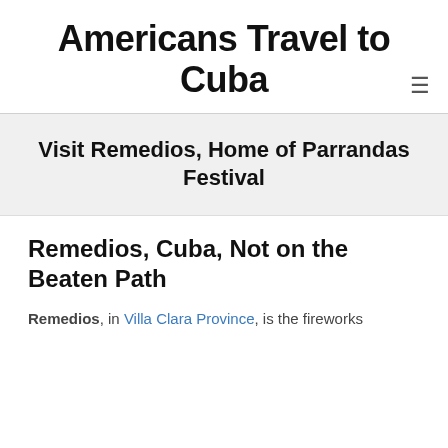Americans Travel to Cuba
Visit Remedios, Home of Parrandas Festival
Remedios, Cuba, Not on the Beaten Path
Remedios, in Villa Clara Province, is the fireworks